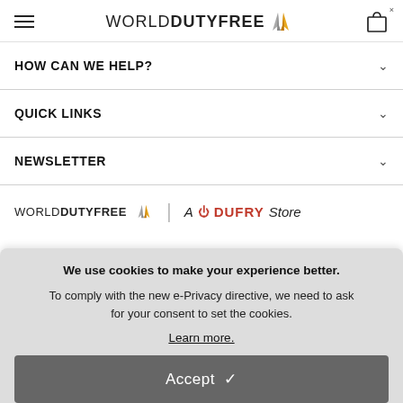[Figure (logo): World Duty Free logo with stylized arrow/diamond icon in silver and gold]
HOW CAN WE HELP?
QUICK LINKS
NEWSLETTER
[Figure (logo): World Duty Free logo followed by 'A DUFRY Store' branding]
We use cookies to make your experience better. To comply with the new e-Privacy directive, we need to ask for your consent to set the cookies.
Learn more.
Accept